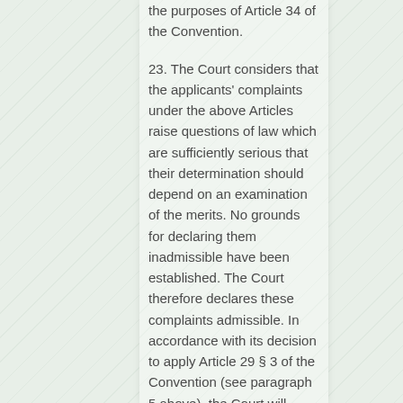the purposes of Article 34 of the Convention.
23. The Court considers that the applicants' complaints under the above Articles raise questions of law which are sufficiently serious that their determination should depend on an examination of the merits. No grounds for declaring them inadmissible have been established. The Court therefore declares these complaints admissible. In accordance with its decision to apply Article 29 § 3 of the Convention (see paragraph 5 above), the Court will immediately consider the merits of these complaints.